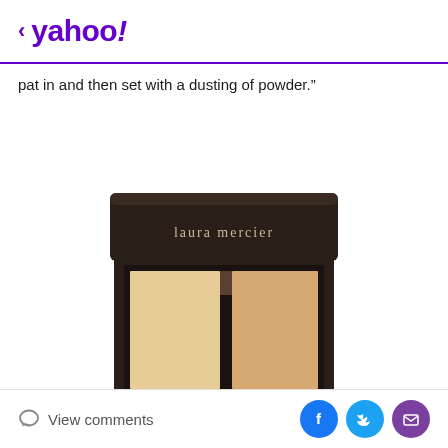< yahoo!
pat in and then set with a dusting of powder.”
[Figure (photo): Laura Mercier compact powder product with dark brown/black case, two shades of beige/nude concealer or powder visible inside]
View comments